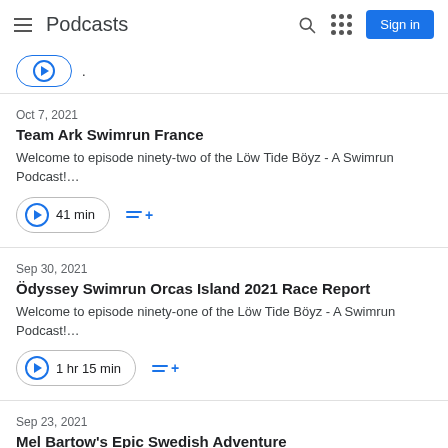Podcasts
Oct 7, 2021
Team Ark Swimrun France
Welcome to episode ninety-two of the Löw Tide Böyz - A Swimrun Podcast!...
41 min
Sep 30, 2021
Ödyssey Swimrun Orcas Island 2021 Race Report
Welcome to episode ninety-one of the Löw Tide Böyz - A Swimrun Podcast!...
1 hr 15 min
Sep 23, 2021
Mel Bartow's Epic Swedish Adventure